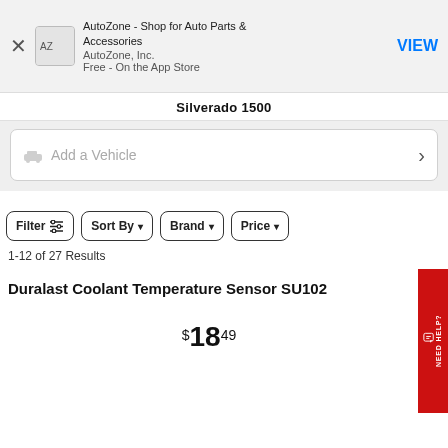[Figure (screenshot): AutoZone app banner with icon, app name, company, price, and VIEW button]
Silverado 1500
Add a Vehicle
Filter   Sort By   Brand   Price
1-12 of 27 Results
Duralast Coolant Temperature Sensor SU102
$18.49